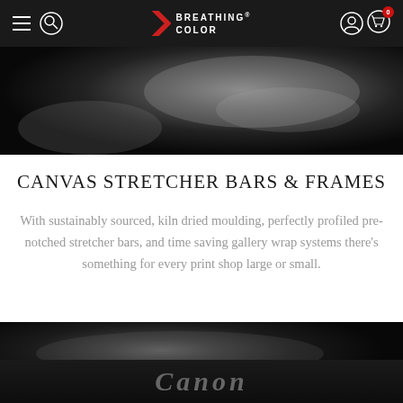Breathing Color — Navigation bar with hamburger menu, search, logo, user account, and cart icons
[Figure (photo): Black and white close-up photo, dark artistic image at top of page]
CANVAS STRETCHER BARS & FRAMES
With sustainably sourced, kiln dried moulding, perfectly profiled pre-notched stretcher bars, and time saving gallery wrap systems there's something for every print shop large or small.
[Figure (photo): Black and dark gray abstract photo at bottom, featuring Canon logo text]
Canon